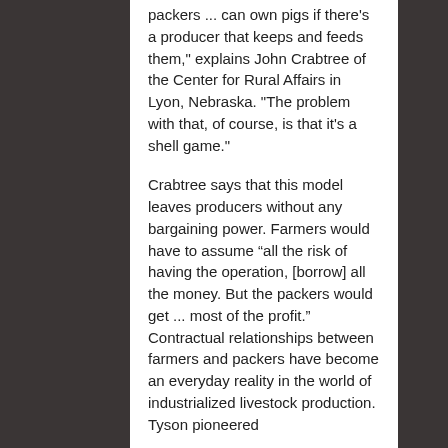packers ... can own pigs if there's a producer that keeps and feeds them," explains John Crabtree of the Center for Rural Affairs in Lyon, Nebraska. "The problem with that, of course, is that it's a shell game."
Crabtree says that this model leaves producers without any bargaining power. Farmers would have to assume “all the risk of having the operation, [borrow] all the money. But the packers would get ... most of the profit.” Contractual relationships between farmers and packers have become an everyday reality in the world of industrialized livestock production. Tyson pioneered